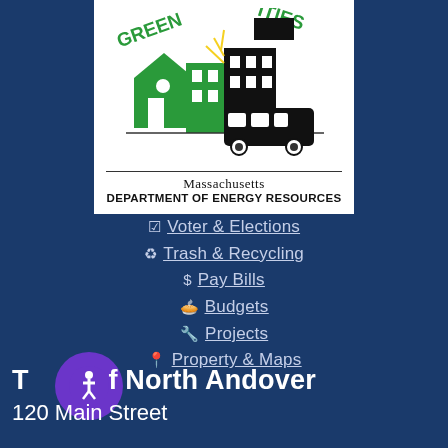[Figure (logo): Green Communities logo with Massachusetts Department of Energy Resources text, showing stylized buildings and a bus in green and black, on white background]
Voter & Elections
Trash & Recycling
Pay Bills
Budgets
Projects
Property & Maps
Town of North Andover
120 Main Street